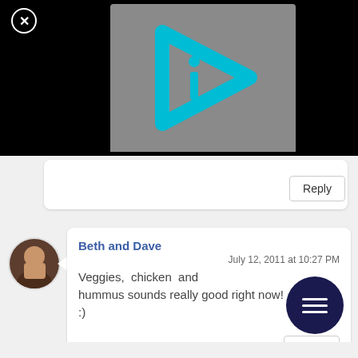[Figure (screenshot): Black video player area with gray thumbnail showing a cyan play/info logo (triangle with 'i' inside) on a gray background. A close (X) button in white circle is in top left.]
[Figure (screenshot): Reply button for an earlier comment]
[Figure (screenshot): User avatar photo (person), circular, with a speech bubble pointing right.]
Beth and Dave
July 12, 2011 at 10:27 PM
Veggies, chicken and hummus sounds really good right now! :)
[Figure (other): Dark navy circular menu icon with three horizontal white lines (hamburger menu)]